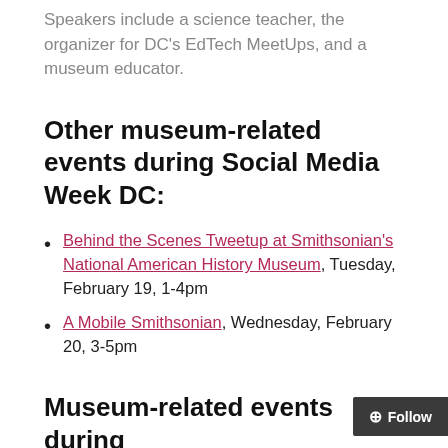Speakers include a science teacher, the organizer for DC's EdTech MeetUps, and a museum educator.
Other museum-related events during Social Media Week DC:
Behind the Scenes Tweetup at Smithsonian's National American History Museum, Tuesday, February 19, 1-4pm
A Mobile Smithsonian, Wednesday, February 20, 3-5pm
Museum-related events during